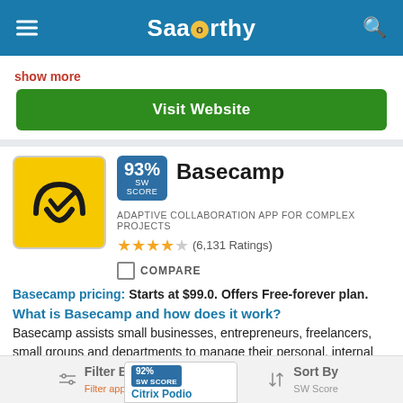SaaSworthy
show more
Visit Website
[Figure (logo): Basecamp yellow logo with checkmark icon]
93% SW SCORE
Basecamp
ADAPTIVE COLLABORATION APP FOR COMPLEX PROJECTS
(6,131 Ratings)
COMPARE
Basecamp pricing: Starts at $99.0. Offers Free-forever plan.
What is Basecamp and how does it work?
Basecamp assists small businesses, entrepreneurs, freelancers, small groups and departments to manage their personal, internal and client projects and tasks. An overview of all your text documents, files,
show more
Visit Website
Filter By Filter applied. Sort By SW Score